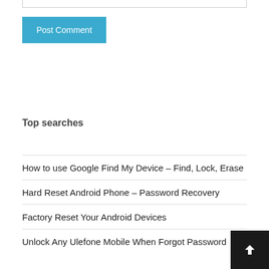[Figure (screenshot): Bottom edge of a text input field with border]
Post Comment
Top searches
How to use Google Find My Device – Find, Lock, Erase
Hard Reset Android Phone – Password Recovery
Factory Reset Your Android Devices
Unlock Any Ulefone Mobile When Forgot Password